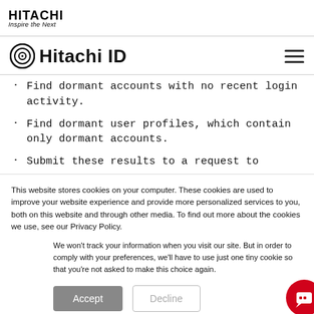HITACHI Inspire the Next
Hitachi ID
Find dormant accounts with no recent login activity.
Find dormant user profiles, which contain only dormant accounts.
Submit these results to a request to
This website stores cookies on your computer. These cookies are used to improve your website experience and provide more personalized services to you, both on this website and through other media. To find out more about the cookies we use, see our Privacy Policy.
We won't track your information when you visit our site. But in order to comply with your preferences, we'll have to use just one tiny cookie so that you're not asked to make this choice again.